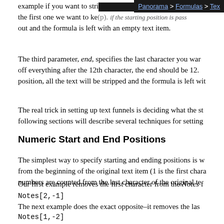Panorama > Formulas > Text
example if you want to strip the first character, but keep everything from the first one we want to keep. If the starting position is passed out and the formula is left with an empty text item.
The third parameter, end, specifies the last character you want to keep. To cut off everything after the 12th character, the end should be 12. If the end is before the start position, all the text will be stripped and the formula is left with an empty text item.
The real trick in setting up text funnels is deciding what the start and end positions are. The following sections will describe several techniques for setting up these values.
Numeric Start and End Positions
The simplest way to specify starting and ending positions is with a number. Positive numbers count from the beginning of the original text item (1 is the first character). Negative numbers are counted from the last character of the original text item.
Our first example removes the first character from the Notes field:
The next example does the exact opposite–it removes the last character:
By using the same number for the start and end a text funnel